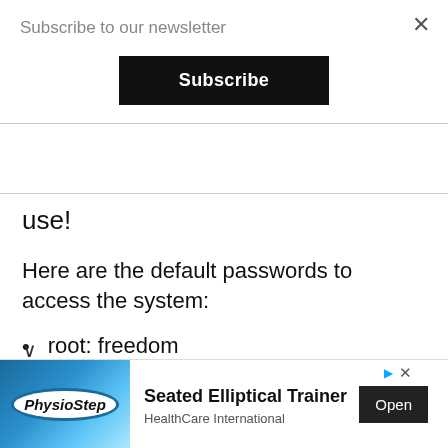Subscribe to our newsletter
Subscribe
use!
Here are the default passwords to access the system:
root: freedom
genuhealth: freedom
[Figure (logo): PhysioStep logo with blue elliptical design]
Seated Elliptical Trainer
HealthCare International